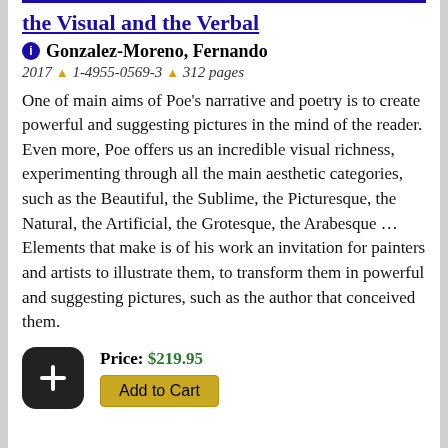the Visual and the Verbal
Gonzalez-Moreno, Fernando
2017 ^ 1-4955-0569-3 ^ 312 pages
One of main aims of Poe's narrative and poetry is to create powerful and suggesting pictures in the mind of the reader. Even more, Poe offers us an incredible visual richness, experimenting through all the main aesthetic categories, such as the Beautiful, the Sublime, the Picturesque, the Natural, the Artificial, the Grotesque, the Arabesque ... Elements that make is of his work an invitation for painters and artists to illustrate them, to transform them in powerful and suggesting pictures, such as the author that conceived them.
Price: $219.95
Add to Cart